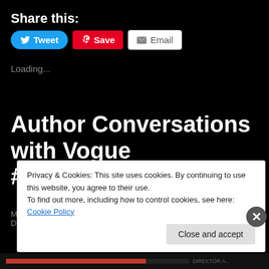Share this:
[Figure (screenshot): Social share buttons: Tweet (Twitter/blue), Save (Pinterest/red), Email (grey/white)]
Loading...
Author Conversations with Vogue #KontrolReads
May 23, 2013 in Book Spotlight, Interviews, On My Soapbox, The Diamond
Privacy & Cookies: This site uses cookies. By continuing to use this website, you agree to their use.
To find out more, including how to control cookies, see here: Cookie Policy
Close and accept